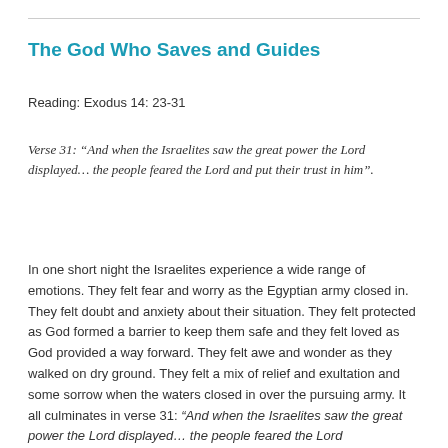The God Who Saves and Guides
Reading: Exodus 14: 23-31
Verse 31: “And when the Israelites saw the great power the Lord displayed… the people feared the Lord and put their trust in him”.
In one short night the Israelites experience a wide range of emotions. They felt fear and worry as the Egyptian army closed in. They felt doubt and anxiety about their situation. They felt protected as God formed a barrier to keep them safe and they felt loved as God provided a way forward. They felt awe and wonder as they walked on dry ground. They felt a mix of relief and exultation and some sorrow when the waters closed in over the pursuing army. It all culminates in verse 31: “And when the Israelites saw the great power the Lord displayed… the people feared the Lord